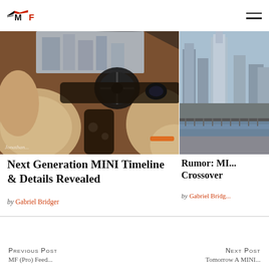MF logo and navigation menu
[Figure (photo): MINI car interior sketch/render showing beige and dark leather seats with steering wheel and city skyline in background]
[Figure (photo): City skyline with tall buildings and waterfront, overcast sky]
Next Generation MINI Timeline & Details Revealed
by Gabriel Bridger
Rumor: MI... Crossover
by Gabriel Bridg...
Previous Post
Next Post